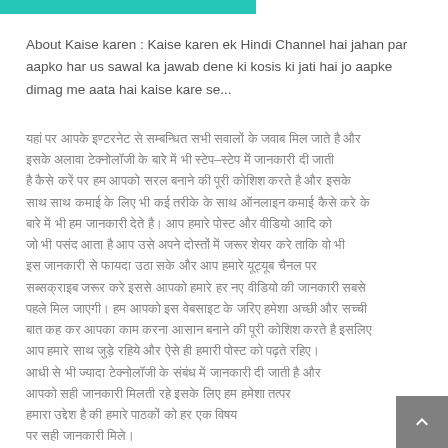About Kaise karen : Kaise karen ek Hindi Channel hai jahan par aapko har us sawal ka jawab dene ki kosis ki jati hai jo aapke dimag me aata hai kaise kare se...
[Hindi text content - multiple paragraphs in Devanagari script describing content related to the channel]